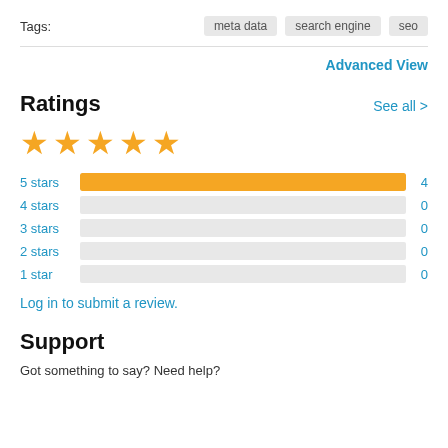Tags:
meta data
search engine
seo
Advanced View
Ratings
See all >
[Figure (other): 5 gold stars rating display]
[Figure (bar-chart): Ratings breakdown]
Log in to submit a review.
Support
Got something to say? Need help?